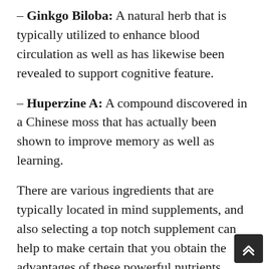– Ginkgo Biloba: A natural herb that is typically utilized to enhance blood circulation as well as has likewise been revealed to support cognitive feature.
– Huperzine A: A compound discovered in a Chinese moss that has actually been shown to improve memory as well as learning.
There are various ingredients that are typically located in mind supplements, and also selecting a top notch supplement can help to make certain that you obtain the advantages of these powerful nutrients. Whether you're searching for improved focus and concentration, much better memory as well as cognitive feature, or just general mind health, there are several fantastic options readily available. Make sure to speak to your doctor before starting any type of supplement routine, and also constantly read the tags carefully to guarantee you're taking the right dosage.